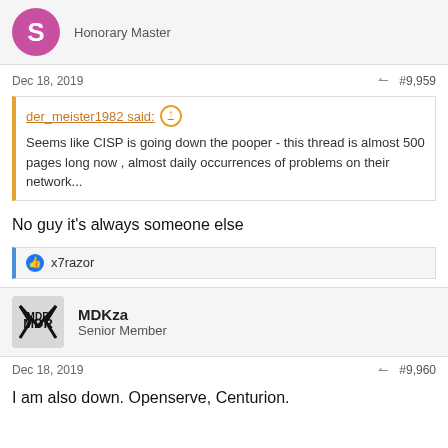S - Honorary Master
Dec 18, 2019   #9,959
der_meister1982 said: ↑
Seems like CISP is going down the pooper - this thread is almost 500 pages long now , almost daily occurrences of problems on their network...
No guy it's always someone else
x7razor
MDKza - Senior Member
Dec 18, 2019   #9,960
I am also down. Openserve, Centurion.